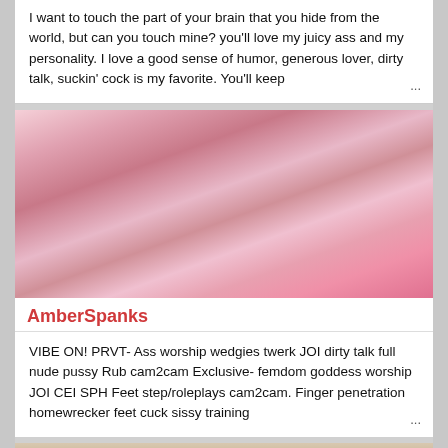I want to touch the part of your brain that you hide from the world, but can you touch mine? you'll love my juicy ass and my personality. I love a good sense of humor, generous lover, dirty talk, suckin' cock is my favorite. You'll keep ...
[Figure (photo): Photo of AmberSpanks, a woman with red hair lying on a pink bed wearing a pink lingerie set with tattoos visible]
AmberSpanks
VIBE ON! PRVT- Ass worship wedgies twerk JOI dirty talk full nude pussy Rub cam2cam Exclusive- femdom goddess worship JOI CEI SPH Feet step/roleplays cam2cam. Finger penetration homewrecker feet cuck sissy training ...
[Figure (photo): Photo of a blonde woman looking at the camera, partial selfie style image]